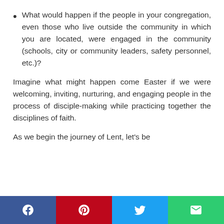What would happen if the people in your congregation, even those who live outside the community in which you are located, were engaged in the community (schools, city or community leaders, safety personnel, etc.)?
Imagine what might happen come Easter if we were welcoming, inviting, nurturing, and engaging people in the process of disciple-making while practicing together the disciplines of faith.
As we begin the journey of Lent, let's be